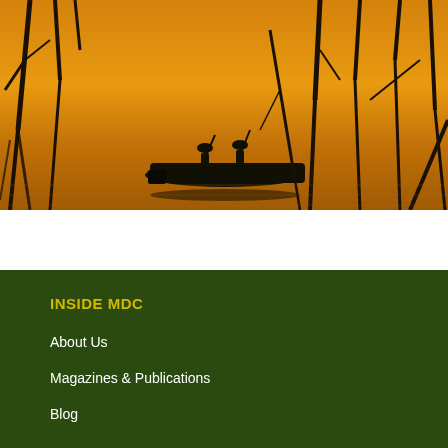[Figure (photo): Two anglers standing on a fishing boat at sunset/dusk on a lake surrounded by dead tree stumps and branches sticking out of the golden-orange water, with reflections visible on the surface.]
INSIDE MDC
About Us
Magazines & Publications
Blog